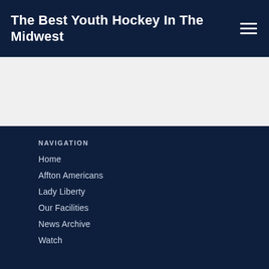The Best Youth Hockey In The Midwest
NAVIGATION
Home
Affton Americans
Lady Liberty
Our Facilities
News Archive
Watch